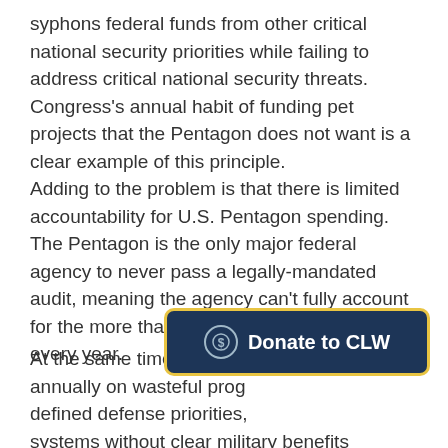syphons federal funds from other critical national security priorities while failing to address critical national security threats. Congress's annual habit of funding pet projects that the Pentagon does not want is a clear example of this principle.
Adding to the problem is that there is limited accountability for U.S. Pentagon spending. The Pentagon is the only major federal agency to never pass a legally-mandated audit, meaning the agency can't fully account for the more than $600 billion it receives every year.
At the same time, billions of dollars are lost annually on wasteful prog[rams that don't serve well-]defined defense priorities, [funding] systems without clear military benefits because there is no pressure to make tough choices
[Figure (other): A dark navy blue rounded rectangle button with a gold/yellow border, containing a circle icon with a dollar sign on the left and bold white text 'Donate to CLW' on the right.]